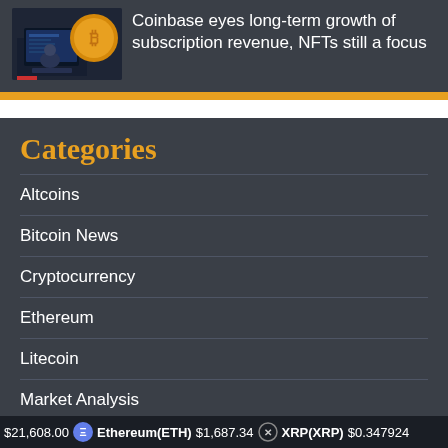[Figure (illustration): Illustration of a person at a computer with a large coin/crypto symbol, in a dark blue-grey background]
Coinbase eyes long-term growth of subscription revenue, NFTs still a focus
Categories
Altcoins
Bitcoin News
Cryptocurrency
Ethereum
Litecoin
Market Analysis
Regulation
$21,608.00  Ethereum(ETH) $1,687.34  XRP(XRP) $0.347924